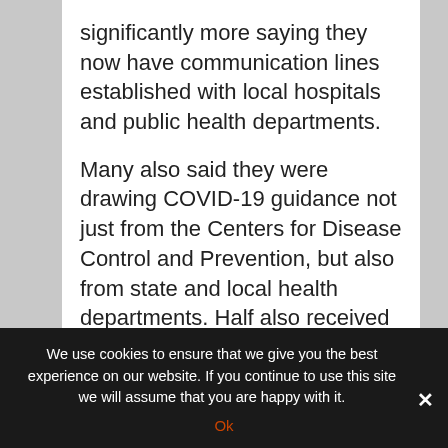significantly more saying they now have communication lines established with local hospitals and public health departments.
Many also said they were drawing COVID-19 guidance not just from the Centers for Disease Control and Prevention, but also from state and local health departments. Half also received guidance from their home's corporate parent.
And while half of the nursing homes surveyed
We use cookies to ensure that we give you the best experience on our website. If you continue to use this site we will assume that you are happy with it.
Ok